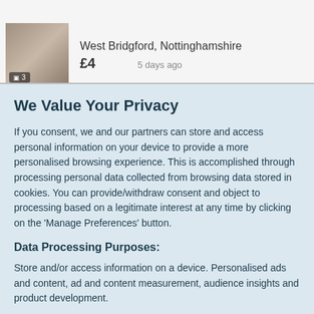[Figure (screenshot): Listing thumbnail image showing a book cover with a camera icon badge showing '3']
West Bridgford, Nottinghamshire
£4
5 days ago
We Value Your Privacy
If you consent, we and our partners can store and access personal information on your device to provide a more personalised browsing experience. This is accomplished through processing personal data collected from browsing data stored in cookies. You can provide/withdraw consent and object to processing based on a legitimate interest at any time by clicking on the 'Manage Preferences' button.
Data Processing Purposes:
Store and/or access information on a device. Personalised ads and content, ad and content measurement, audience insights and product development.
List of Partners (vendors)
Accept
Manage your privacy settings